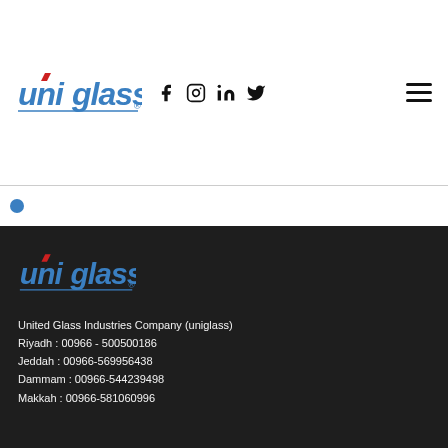[Figure (logo): Uniglass logo in header with social media icons (Facebook, Instagram, LinkedIn, Twitter) and hamburger menu]
[Figure (logo): Uniglass logo in dark footer section]
United Glass Industries Company (uniglass)
Riyadh : 00966 - 500500186
Jeddah : 00966-569956438
Dammam : 00966-544239498
Makkah : 00966-581060996